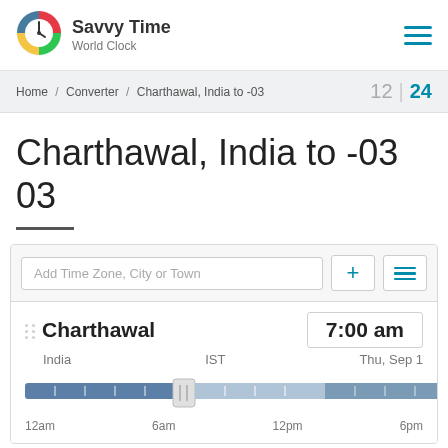[Figure (logo): Savvy Time World Clock logo - circular multicolor clock icon]
Savvy Time
World Clock
[Figure (other): Hamburger menu icon (three horizontal teal lines)]
Home / Converter / Charthawal, India to -03   12 | 24
Charthawal, India to -03 03
Add Time Zone, City or Town
Charthawal   7:00 am
India   IST   Thu, Sep 1
[Figure (other): Timeline bar for Charthawal showing 12am, 6am, 12pm, 6pm with a slider at 6am position]